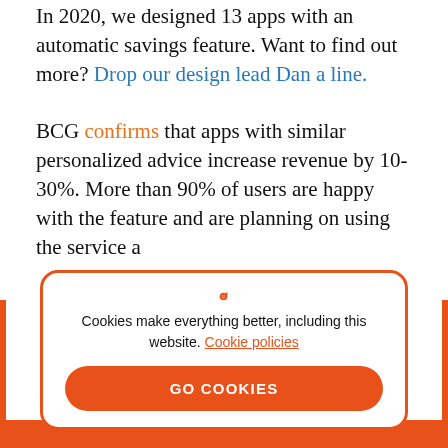In 2020, we designed 13 apps with an automatic savings feature. Want to find out more? Drop our design lead Dan a line.
BCG confirms that apps with similar personalized advice increase revenue by 10-30%. More than 90% of users are happy with the feature and are planning on using the service a...
[Figure (screenshot): Cookie consent modal overlay with orange border, cookie icon, text 'Cookies make everything better, including this website. Cookie policies', and an orange 'GO COOKIES' button.]